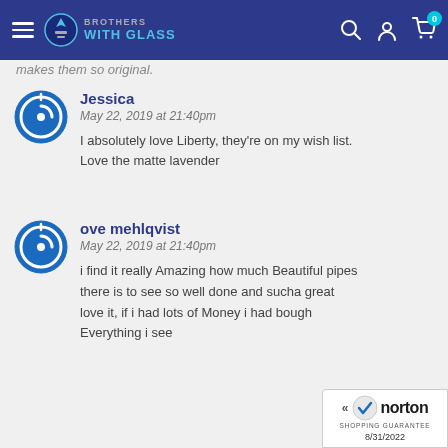[Figure (screenshot): Brothers with Glass website header navigation bar with hamburger menu, logo, search, account, and cart icons on dark blue background]
makes them so original.
Jessica
May 22, 2019 at 21:40pm

I absolutely love Liberty, they're on my wish list. Love the matte lavender
ove mehlqvist
May 22, 2019 at 21:40pm

i find it really Amazing how much Beautiful pipes there is to see so well done and sucha great love it, if i had lots of Money i had bough Everything i see
[Figure (logo): Norton Shopping Guarantee badge with checkmark, dated 8/31/2022]